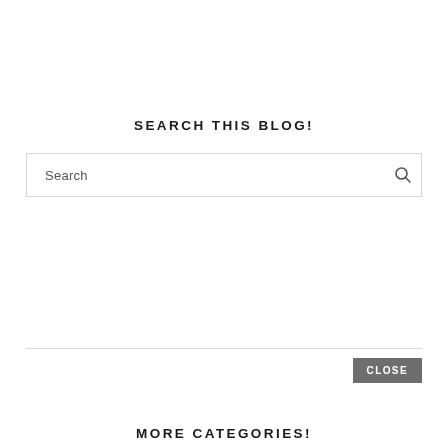SEARCH THIS BLOG!
[Figure (screenshot): Search input box with placeholder text 'Search' and a magnifying glass icon on the right]
CLOSE
MORE CATEGORIES!